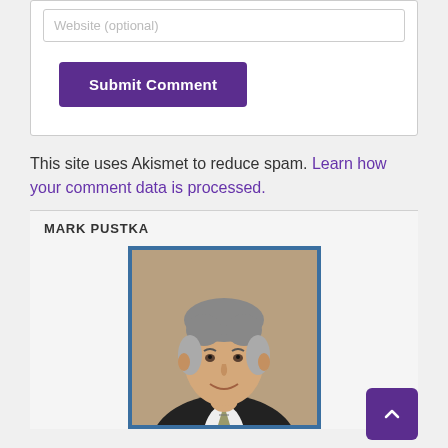Website (optional)
Submit Comment
This site uses Akismet to reduce spam. Learn how your comment data is processed.
MARK PUSTKA
[Figure (photo): Headshot of Mark Pustka, a middle-aged man in a dark suit and striped tie, smiling, with a blue border frame around the photo.]